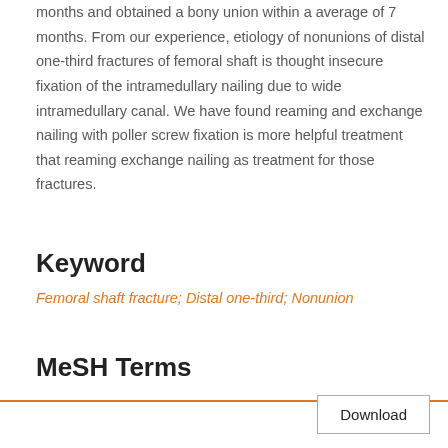months and obtained a bony union within a average of 7 months. From our experience, etiology of nonunions of distal one-third fractures of femoral shaft is thought insecure fixation of the intramedullary nailing due to wide intramedullary canal. We have found reaming and exchange nailing with poller screw fixation is more helpful treatment that reaming exchange nailing as treatment for those fractures.
Keyword
Femoral shaft fracture; Distal one-third; Nonunion
MeSH Terms